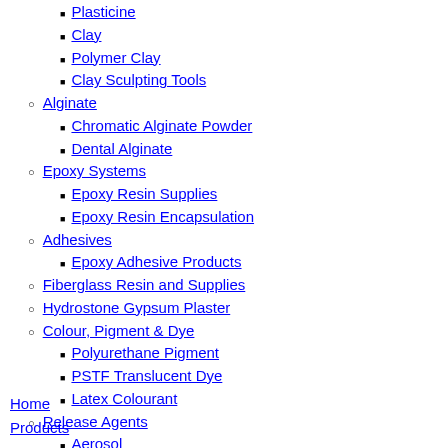Plasticine
Clay
Polymer Clay
Clay Sculpting Tools
Alginate
Chromatic Alginate Powder
Dental Alginate
Epoxy Systems
Epoxy Resin Supplies
Epoxy Resin Encapsulation
Adhesives
Epoxy Adhesive Products
Fiberglass Resin and Supplies
Hydrostone Gypsum Plaster
Colour, Pigment & Dye
Polyurethane Pigment
PSTF Translucent Dye
Latex Colourant
Release Agents
Aerosol
Paste Wax
Resin Art
Home
Products
Industries Id...